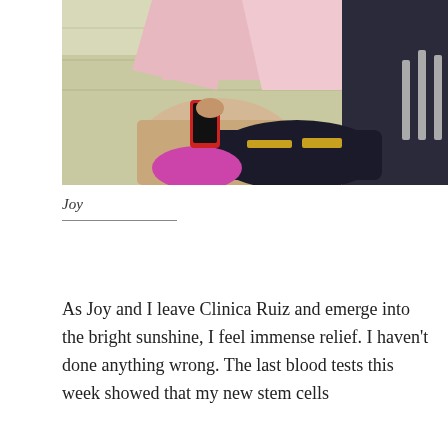[Figure (photo): A person sitting, holding a mobile phone, with bags beside them including a pink round bag and a black Adidas bag, viewed from above at what appears to be a clinic waiting area with tiled flooring.]
Joy
As Joy and I leave Clinica Ruiz and emerge into the bright sunshine, I feel immense relief. I haven't done anything wrong. The last blood tests this week showed that my new stem cells